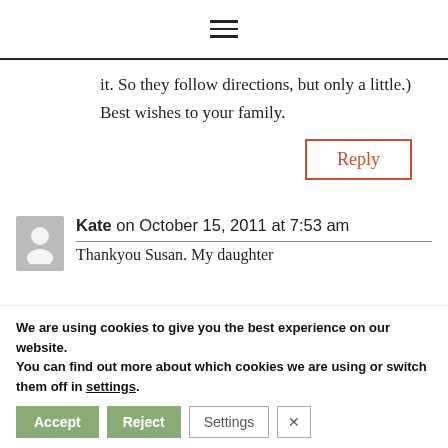≡ (hamburger menu icon)
it. So they follow directions, but only a little.)
Best wishes to your family.
Reply
Kate on October 15, 2011 at 7:53 am
Thankyou Susan. My daughter
We are using cookies to give you the best experience on our website.
You can find out more about which cookies we are using or switch them off in settings.
Accept
Reject
Settings
×